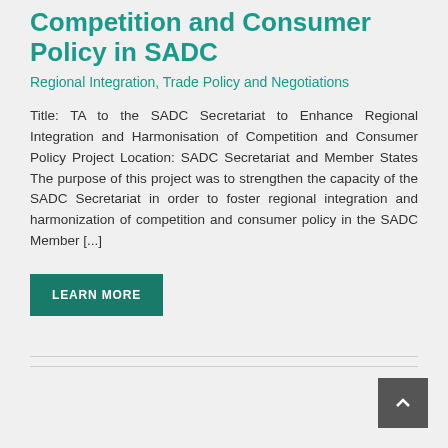Competition and Consumer Policy in SADC
Regional Integration, Trade Policy and Negotiations
Title: TA to the SADC Secretariat to Enhance Regional Integration and Harmonisation of Competition and Consumer Policy Project Location: SADC Secretariat and Member States The purpose of this project was to strengthen the capacity of the SADC Secretariat in order to foster regional integration and harmonization of competition and consumer policy in the SADC Member [...]